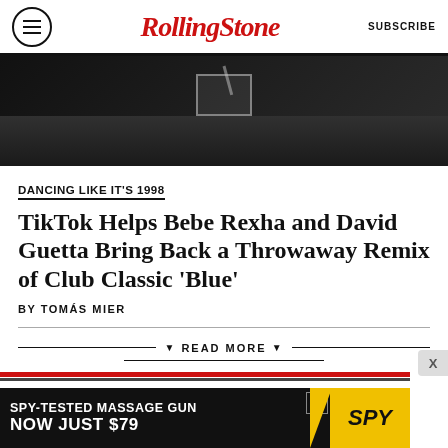Rolling Stone | SUBSCRIBE
[Figure (photo): Black and white close-up photo of a person wearing a leather jacket with a pocket]
DANCING LIKE IT'S 1998
TikTok Helps Bebe Rexha and David Guetta Bring Back a Throwaway Remix of Club Classic 'Blue'
BY TOMÁS MIER
READ MORE
[Figure (screenshot): Advertisement banner: SPY-TESTED MASSAGE GUN NOW JUST $79 with SPY logo on yellow background]